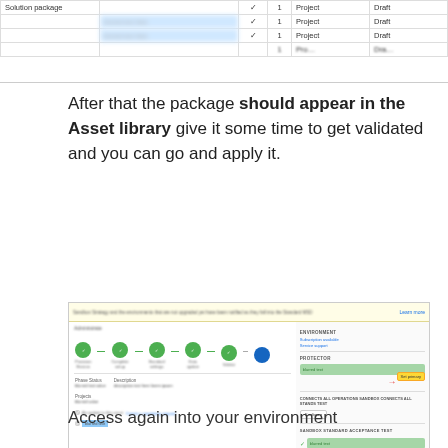[Figure (screenshot): Partial screenshot of a table showing Solution package rows with columns including Project and Draft status, with some rows blurred.]
After that the package should appear in the Asset library give it some time to get validated and you can go and apply it.
[Figure (screenshot): Screenshot of an application interface showing a multi-step process with green circle steps, environment panel on the right with sections for ENVIRONMENT (Subscription available, Service support), PROTECTOR with a green bar and yellow button with red arrow, CONNECTS ALL OPERATIONS SANDBOX CONNECTS ALL STANDS TEST with Configure button, and SANDBOX STANDARD ACCEPTANCE TEST section with green bar and yellow button with red arrow.]
Access again into your environment